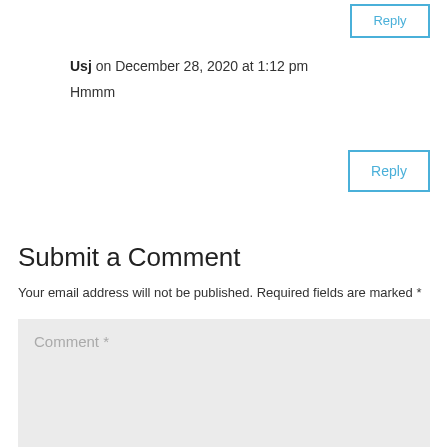Reply
Usj on December 28, 2020 at 1:12 pm
Hmmm
Reply
Submit a Comment
Your email address will not be published. Required fields are marked *
Comment *